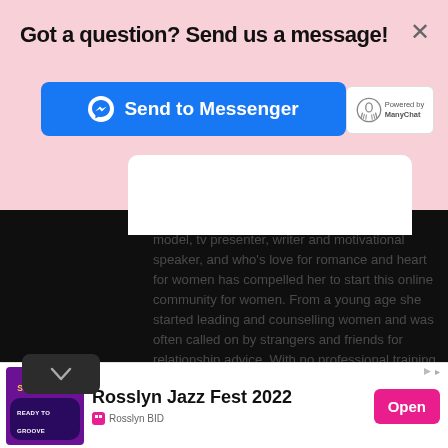Got a question? Send us a message!
[Figure (screenshot): Blue 'Send to Messenger' button with Facebook Messenger icon, and ManyChat powered-by badge on the right]
[Figure (screenshot): White card peek visible below the pink banner over dark background]
model, tv presenter, writer and motivational speaker, and who's love for romance and heart for women has compelled her to start this online community for women. From a young age she started leading and counselling women and was often called on by strangers and friends for relationship advice. With no professional training but rather what she picked up in experience, teachings and observation, her writings offer
[Figure (screenshot): Chevron down arrow button on dark background]
[Figure (screenshot): Ad banner: Rosslyn Jazz Fest 2022, Saturday September 10, Ready to Groove, sponsored by Rosslyn BID, with Open button]
Rosslyn Jazz Fest 2022
Saturday, September 10
READY TO GROOVE
Rosslyn BID